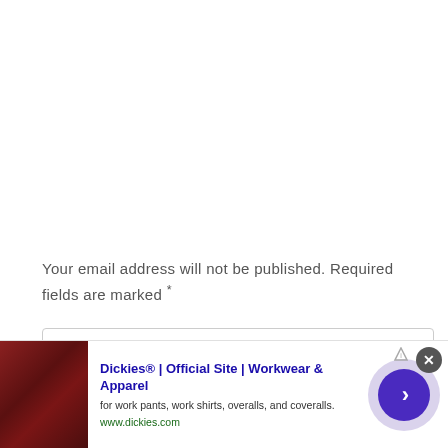Your email address will not be published. Required fields are marked *
COMMENT
[Figure (screenshot): Advertisement banner for Dickies workwear. Shows a red leather seating image on left, ad title 'Dickies® | Official Site | Workwear & Apparel', description 'for work pants, work shirts, overalls, and coveralls.', URL 'www.dickies.com', a close button (X), and a purple arrow navigation button.]